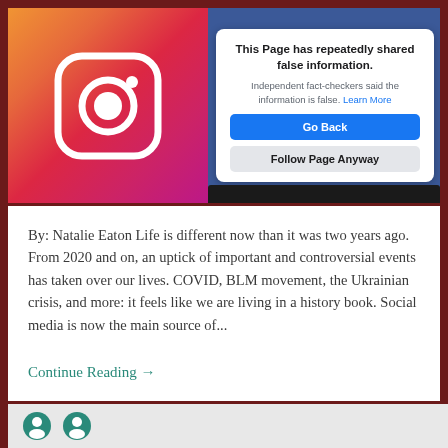[Figure (screenshot): Screenshot showing Instagram logo on pink/red gradient background on left, and a Facebook-style popup warning on blue background on right. The popup reads: 'This Page has repeatedly shared false information. Independent fact-checkers said the information is false. Learn More' with buttons 'Go Back' (blue) and 'Follow Page Anyway' (gray).]
By: Natalie Eaton Life is different now than it was two years ago. From 2020 and on, an uptick of important and controversial events has taken over our lives. COVID, BLM movement, the Ukrainian crisis, and more: it feels like we are living in a history book. Social media is now the main source of...
Continue Reading →